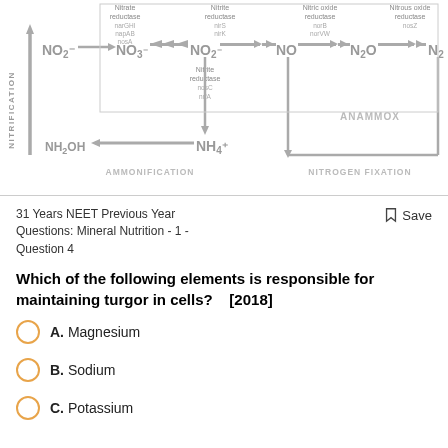[Figure (flowchart): Nitrogen cycle diagram showing nitrification, denitrification, ammonification, anammox, and nitrogen fixation pathways with chemical compounds NO2-, NO3-, NO2-, NO, N2O, N2, NH4+, NH2OH and associated enzyme names (Nitrate reductase narGHI napAB nosA, Nitrite reductase nirS nirK, Nitric oxide reductase norB norVW, Nitrous oxide reductase nosZ, Nitrite reductase nosC nrfA). Arrows show NITRIFICATION (vertical left), AMMONIFICATION, NITROGEN FIXATION, and ANAMMOX labels.]
31 Years NEET Previous Year Questions: Mineral Nutrition - 1 - Question 4
Save
Which of the following elements is responsible for maintaining turgor in cells?    [2018]
A. Magnesium
B. Sodium
C. Potassium